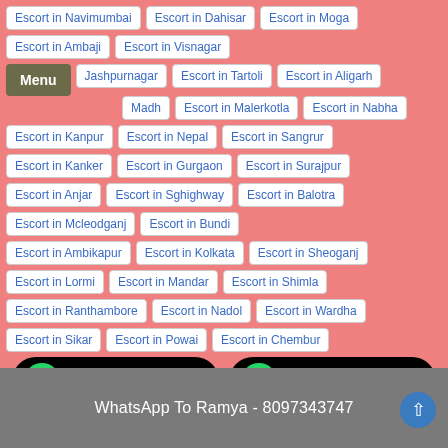Escort in Navimumbai
Escort in Dahisar
Escort in Moga
Escort in Ambaji
Escort in Visnagar
Escort in Jashpurnagar
Escort in Tartoli
Escort in Aligarh
Escort in Madh
Escort in Malerkotla
Escort in Nabha
Escort in Kanpur
Escort in Nepal
Escort in Sangrur
Escort in Kanker
Escort in Gurgaon
Escort in Surajpur
Escort in Anjar
Escort in Sghighway
Escort in Balotra
Escort in Mcleodganj
Escort in Bundi
Escort in Ambikapur
Escort in Kolkata
Escort in Sheoganj
Escort in Lormi
Escort in Mandar
Escort in Shimla
Escort in Ranthambore
Escort in Nadol
Escort in Wardha
Escort in Sikar
Escort in Powai
Escort in Chembur
Call Ramya Now - 8097343747
WhatsApp To Ramya - 8097343747